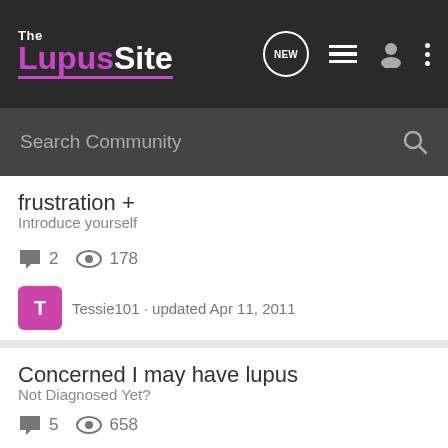The LupusSite
Search Community
frustration +
Introduce yourself
2 replies · 178 views
Tessie101 · updated Apr 11, 2011
Concerned I may have lupus
Not Diagnosed Yet?
5 replies · 658 views
technogiant · updated Jan 10, 2008
need some help
Not Diagnosed Yet?